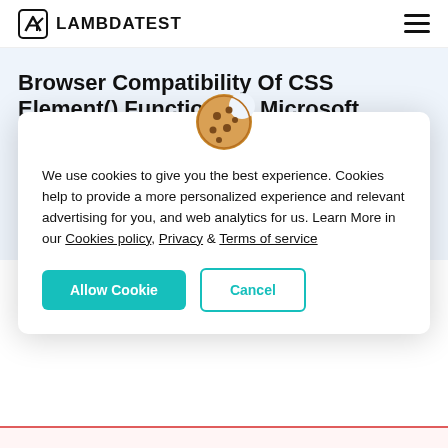LAMBDATEST
Browser Compatibility Of CSS Element() Function On Microsoft Edge 97
[Figure (illustration): Cookie emoji icon — a brown cookie with chocolate chips and a bite taken out]
We use cookies to give you the best experience. Cookies help to provide a more personalized experience and relevant advertising for you, and web analytics for us. Learn More in our Cookies policy, Privacy & Terms of service
Allow Cookie  Cancel